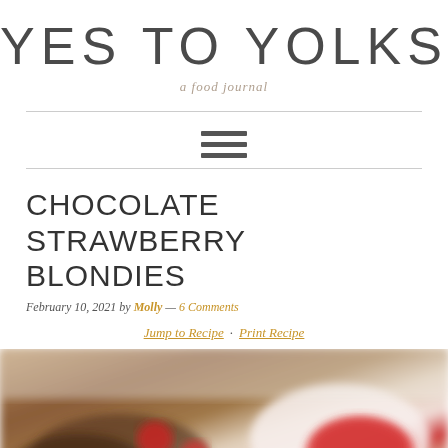YES TO YOLKS
a food journal
CHOCOLATE STRAWBERRY BLONDIES
February 10, 2021 by Molly — 6 Comments
Jump to Recipe · Print Recipe
[Figure (photo): Blurred photo of chocolate strawberry blondies on a plate with a bowl of red strawberry sauce]